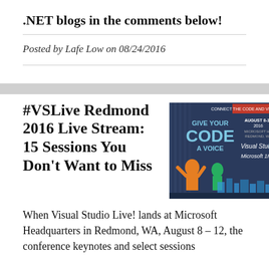.NET blogs in the comments below!
Posted by Lafe Low on 08/24/2016
#VSLive Redmond 2016 Live Stream: 15 Sessions You Don't Want to Miss
[Figure (illustration): Visual Studio Live! Redmond 2016 conference promotional image with text 'Give Your Code a Voice', 'August 8-12 2016, Microsoft HQ Redmond WA', and 'Visual Studio Live! Microsoft HQ' with illustrated figures against a blue background.]
When Visual Studio Live! lands at Microsoft Headquarters in Redmond, WA, August 8 – 12, the conference keynotes and select sessions